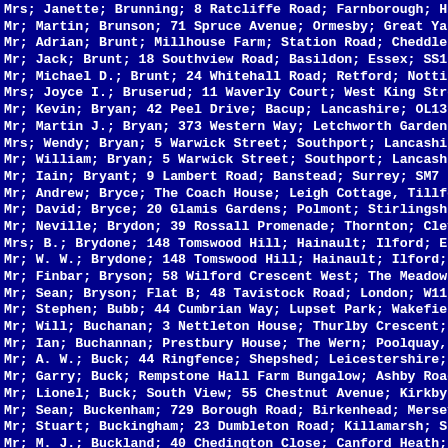Mrs; Janette; Brunning; 8 Ratcliffe Road; Farnborough; Ha
Mr; Martin; Brunson; 71 Spruce Avenue; Ormesby; Great Ya
Mr; Adrian; Brunt; Millhouse Farm; Station Road; Cheddlet
Mr; Jack; Brunt; 18 Southview Road; Basildon; Essex; SS16
Mr; Michael D.; Brunt; 24 Whitehall Road; Retford; Nottin
Mrs; Joyce I.; Bruserud; 11 Waverly Court; West King Stre
Mr; Kevin; Bryan; 42 Peel Drive; Bacup; Lancashire; OL13
Mr; Martin J.; Bryan; 373 Western Way; Letchworth Garden
Mrs; Wendy; Bryan; 5 Warwick Street; Southport; Lancashi
Mr; William; Bryan; 5 Warwick Street; Southport; Lancash;
Mr; Iain; Bryant; 9 Lambert Road; Banstead; Surrey; SM7 ;
Mr; Andrew; Bryce; The Coach House; Leigh Cottage, Tillfo
Mr; David; Bryce; 20 Glamis Gardens; Polmont; Stirlingsh;
Mr; Neville; Brydon; 39 Rossall Promenade; Thornton; Clev
Mrs; B.; Brydone; 148 Tomswood Hill; Hainault; Ilford; Es
Mr; W. W.; Brydone; 148 Tomswood Hill; Hainault; Ilford;
Mr; Finbar; Bryson; 58 Wilford Crescent West; The Meadows
Mr; Sean; Bryson; Flat B; 48 Tavistock Road; London; W11
Mr; Stephen; Bubb; 44 Cumbrian Way; Lupset Park; Wakefie;
Mr; Will; Buchanan; 3 Nettleton House; Thurlby Crescent;
Mr; Ian; Buchannan; Prestbury House; The Wern; Poolquay,
Mr; A. W.; Buck; 44 Ringfence; Shepshed; Leicestershire;
Mr; Garry; Buck; Rempstone Hall Farm Bungalow; Ashby Road
Mr; Lionel; Buck; South View; 55 Chestnut Avenue; Kirkby;
Mr; Sean; Buckenham; 729 Borough Road; Birkenhead; Mersey
Mr; Stuart; Buckingham; 23 Dumbleton Road; Killamarsh; Sh
Mr; M. J.; Buckland; 40 Chedington Close; Canford Heath;
Mr; Richard; Buckle; 5 Longleat Grove; Kettering; Northan
Mr; Alan; Buckley; 30 Garfield Road; Scarborough; North Y
Mr; Charlie; Buckley; 438 Maidstone Road; Wigmore; Gilli